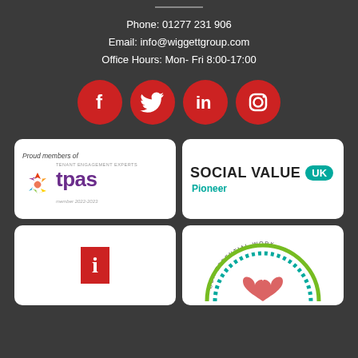Phone: 01277 231 906
Email: info@wiggettgroup.com
Office Hours: Mon- Fri 8:00-17:00
[Figure (infographic): Four red circular social media icons: Facebook, Twitter, LinkedIn, Instagram]
[Figure (logo): Proud members of tpas - Tenant Engagement Experts, member 2022-2023]
[Figure (logo): Social Value UK Pioneer badge]
[Figure (logo): Partially visible red logo at bottom left]
[Figure (logo): Partially visible circular arc logo at bottom right with text Our Essential Work]